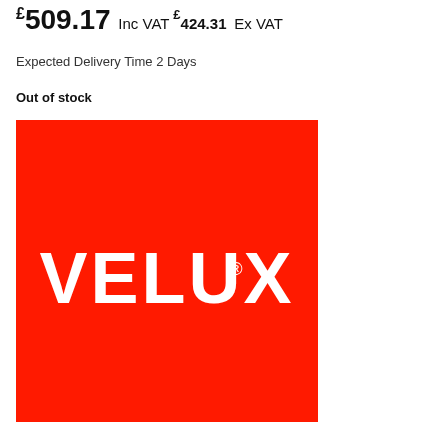£509.17 Inc VAT £424.31 Ex VAT
Expected Delivery Time 2 Days
Out of stock
[Figure (logo): VELUX logo — white bold text on a red background square]